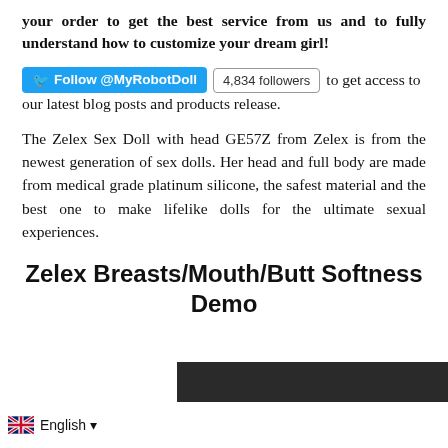your order to get the best service from us and to fully understand how to customize your dream girl!
Follow @MyRobotDoll  4,834 followers  to get access to our latest blog posts and products release.
The Zelex Sex Doll with head GE57Z from Zelex is from the newest generation of sex dolls. Her head and full body are made from medical grade platinum silicone, the safest material and the best one to make lifelike dolls for the ultimate sexual experiences.
Zelex Breasts/Mouth/Butt Softness Demo
[Figure (screenshot): Dark video/image thumbnail at bottom right of page]
English